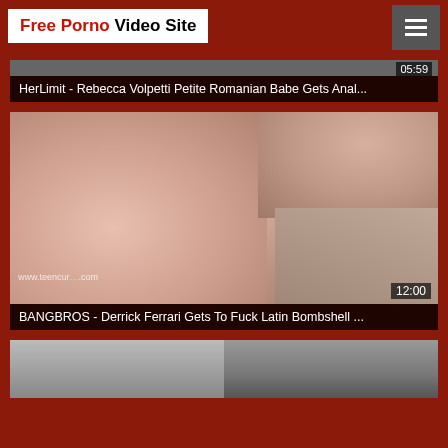Free Porno Video Site
[Figure (screenshot): Partial video thumbnail at top of page (cropped)]
HerLimit - Rebecca Volpetti Petite Romanian Babe Gets Anal...
[Figure (photo): Video thumbnail - explicit adult content, redhead woman]
BANGBROS - Derrick Ferrari Gets To Fuck Latin Bombshell ...
[Figure (photo): Partial video thumbnail at bottom of page (cropped)]